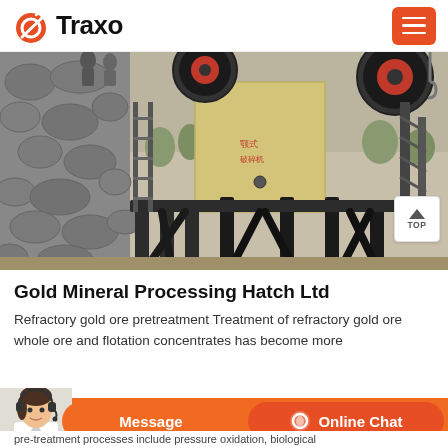Traxo
[Figure (photo): Industrial mining jaw crusher machine on a steel frame structure with stone wall background]
Gold Mineral Processing Hatch Ltd
Refractory gold ore pretreatment Treatment of refractory gold ore whole ore and flotation concentrates has become more
pre-treatment processes include pressure oxidation, biological